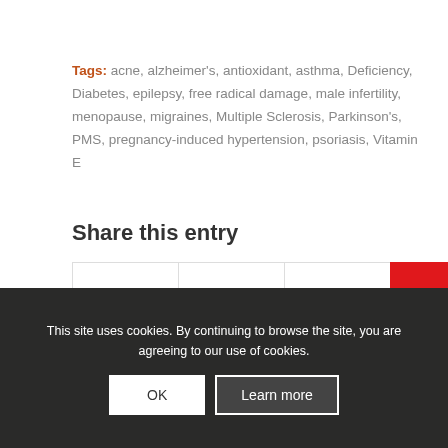Tags: acne, alzheimer's, antioxidant, asthma, Deficiency, Diabetes, epilepsy, free radical damage, male infertility, menopause, migraines, Multiple Sclerosis, Parkinson's, PMS, pregnancy-induced hypertension, psoriasis, Vitamin E
Share this entry
[Figure (other): Social share icons row: Facebook, Twitter, WhatsApp, Pinterest (Save), LinkedIn, Tumblr, Reddit, Email]
You might also like
This site uses cookies. By continuing to browse the site, you are agreeing to our use of cookies.
OK   Learn more